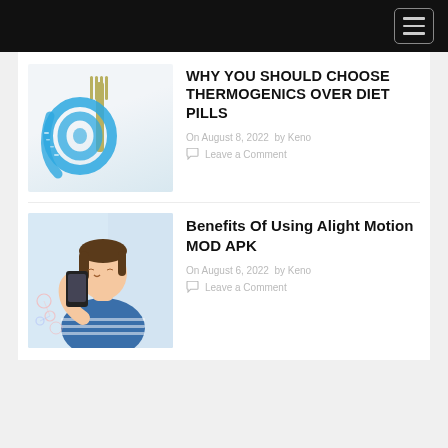WHY YOU SHOULD CHOOSE THERMOGENICS OVER DIET PILLS
On August 8, 2022  by Keno
Leave a Comment
[Figure (photo): A blue measuring tape wrapped around a fork against a white background]
Benefits Of Using Alight Motion MOD APK
On August 6, 2022  by Keno
Leave a Comment
[Figure (photo): A smiling young woman in a blue striped shirt using a smartphone]